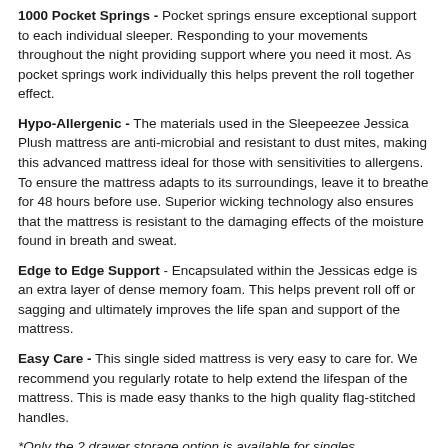1000 Pocket Springs - Pocket springs ensure exceptional support to each individual sleeper. Responding to your movements throughout the night providing support where you need it most. As pocket springs work individually this helps prevent the roll together effect.
Hypo-Allergenic - The materials used in the Sleepeezee Jessica Plush mattress are anti-microbial and resistant to dust mites, making this advanced mattress ideal for those with sensitivities to allergens. To ensure the mattress adapts to its surroundings, leave it to breathe for 48 hours before use. Superior wicking technology also ensures that the mattress is resistant to the damaging effects of the moisture found in breath and sweat.
Edge to Edge Support - Encapsulated within the Jessicas edge is an extra layer of dense memory foam. This helps prevent roll off or sagging and ultimately improves the life span and support of the mattress.
Easy Care - This single sided mattress is very easy to care for. We recommend you regularly rotate to help extend the lifespan of the mattress. This is made easy thanks to the high quality flag-stitched handles.
*Only the 2 drawer storage option is available for singles.